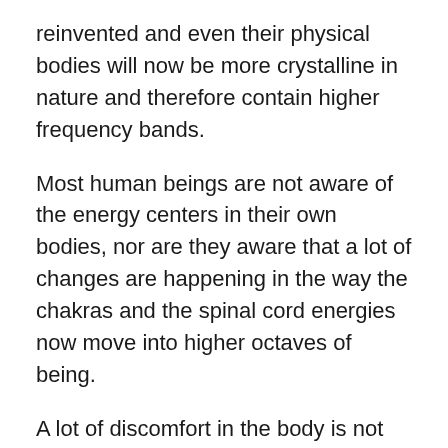reinvented and even their physical bodies will now be more crystalline in nature and therefore contain higher frequency bands.
Most human beings are not aware of the energy centers in their own bodies, nor are they aware that a lot of changes are happening in the way the chakras and the spinal cord energies now move into higher octaves of being.
A lot of discomfort in the body is not caused so much by what we human being term “DIS-EASE” but rather by blocked particles of energies within these centers and therefore now are being worked on galactically to prepare mankind for the massive shifts with the portals opening up.
It is known to the Intergalactic Federation of Light, that the human body will have to be readjusted immensely, as the portals opening up on the world have a massive